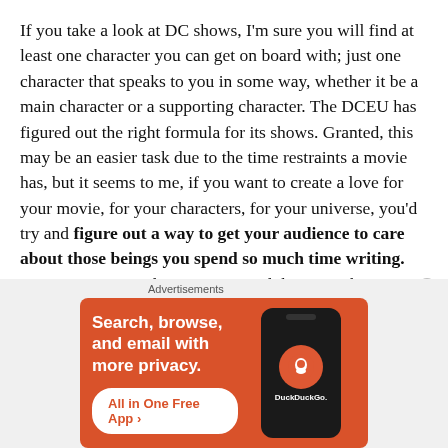If you take a look at DC shows, I'm sure you will find at least one character you can get on board with; just one character that speaks to you in some way, whether it be a main character or a supporting character. The DCEU has figured out the right formula for its shows. Granted, this may be an easier task due to the time restraints a movie has, but it seems to me, if you want to create a love for your movie, for your characters, for your universe, you'd try and figure out a way to get your audience to care about those beings you spend so much time writing. Not to once again dote upon Marvel, but something I mentioned in a previous article about Infinity War is how well the MCU
Advertisements
[Figure (screenshot): DuckDuckGo advertisement banner on orange background. Text: 'Search, browse, and email with more privacy. All in One Free App'. Shows a phone with DuckDuckGo logo.]